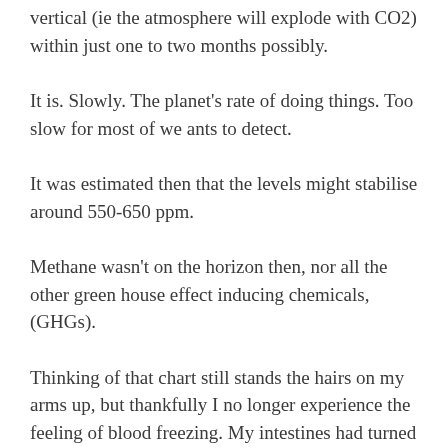vertical (ie the atmosphere will explode with CO2) within just one to two months possibly.
It is. Slowly. The planet's rate of doing things. Too slow for most of we ants to detect.
It was estimated then that the levels might stabilise around 550-650 ppm.
Methane wasn't on the horizon then, nor all the other green house effect inducing chemicals, (GHGs).
Thinking of that chart still stands the hairs on my arms up, but thankfully I no longer experience the feeling of blood freezing. My intestines had turned into a block of ice.